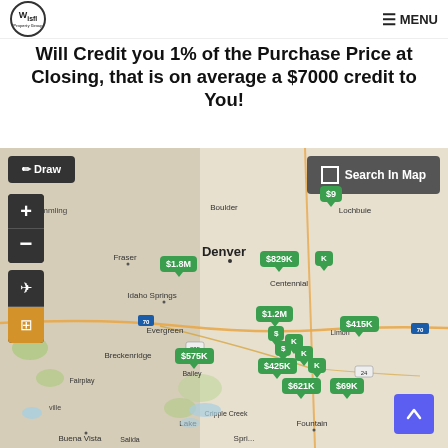Wisfl | MENU
Will Credit you 1% of the Purchase Price at Closing, that is on average a $7000 credit to You!
[Figure (map): Interactive real estate map of Colorado showing Denver metro area and surrounding regions with green price marker pins: $9xx, $1.8M, $829K, $415K, $1.2M, $575K, $425K, $621K, $69K and others. Map includes Draw, Search In Map, zoom controls, and layer tools.]